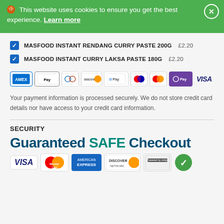🍪 This website uses cookies to ensure you get the best experience. Learn more
✓ MASFOOD INSTANT RENDANG CURRY PASTE 200G £2.20
✓ MASFOOD INSTANT CURRY LAKSA PASTE 180G £2.20
[Figure (other): Payment method icons: AMEX, Apple Pay, Diners Club, Discover, Google Pay, Maestro, Mastercard, OPay, VISA]
Your payment information is processed securely. We do not store credit card details nor have access to your credit card information.
SECURITY
Guaranteed SAFE Checkout
[Figure (other): Guaranteed SAFE Checkout banner with logos: VISA, MasterCard, American Express, Discover Network, Powered by stripe, green checkmark badge]